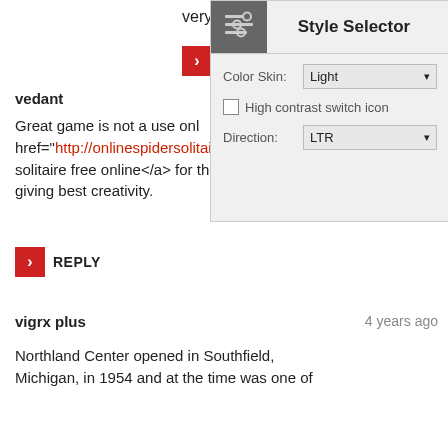very nice photo )
REPLY
vedant
Great game is not a use only also <a href="http://onlinespidersolitaire.simplesite.com">spider solitaire free online</a> for the mind grove and giving best creativity.
REPLY
[Figure (screenshot): Style Selector overlay with Color Skin dropdown set to Light, High contrast switch icon checkbox unchecked, and Direction dropdown set to LTR]
vigrx plus
4 years ago
Northland Center opened in Southfield, Michigan, in 1954 and at the time was one of